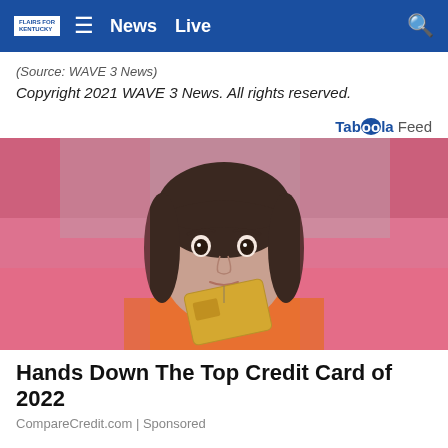News   Live
(Source: WAVE 3 News)
Copyright 2021 WAVE 3 News. All rights reserved.
Taboola Feed
[Figure (photo): Young woman with bangs holding a gold credit card in front of a pink background, wearing an orange top]
Hands Down The Top Credit Card of 2022
CompareCredit.com | Sponsored